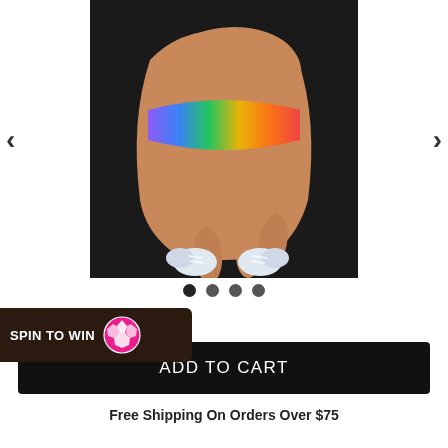[Figure (photo): Close-up photo of a person's wrist wearing a rainbow gradient wristband/bracelet, with two feet in white sneakers visible in the background on a dark surface.]
< >
● ● ● ●
S
SPIN TO WIN
ADD TO CART
Free Shipping On Orders Over $75